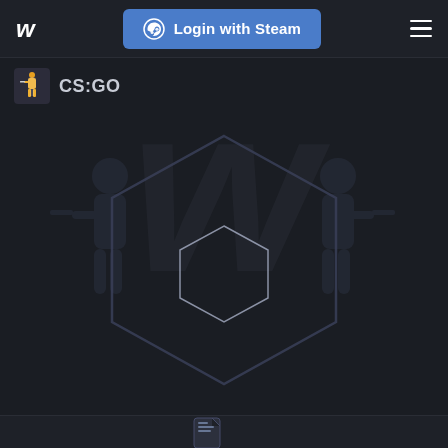W | Login with Steam
CS:GO
[Figure (screenshot): Dark themed web page background with large faded CS:GO watermark logo and a centered hexagonal badge graphic (outer large hexagon with inner smaller hexagon outline). The background shows a faint stylized shooter figure. At the bottom edge a partial item/card row is visible.]